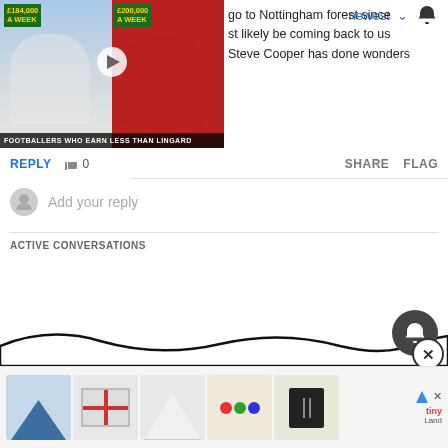[Figure (screenshot): Video thumbnail showing footballers with salary labels: £184,000 A WEEK and £200,000 A WEEK, caption: FOOTBALLERS WHO EARN LESS THAN LINGARD]
go to Nottingham forest since
st likely be coming back to us
Steve Cooper has done wonders
newest ∨
REPLY  👍 0    SHARE  FLAG
Add your reply
ACTIVE CONVERSATIONS
[Figure (screenshot): Ad strip at bottom showing toy product images and Tiny Land logo]
[Figure (other): Dark notification bell button (circle) bottom right]
[Figure (other): Close (X) button circle bottom right]